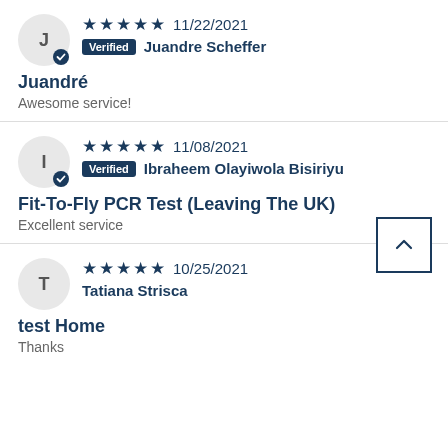★★★★★ 11/22/2021 Verified Juandre Scheffer
Juandré
Awesome service!
★★★★★ 11/08/2021 Verified Ibraheem Olayiwola Bisiriyu
Fit-To-Fly PCR Test (Leaving The UK)
Excellent service
★★★★★ 10/25/2021 Tatiana Strisca
test Home
Thanks